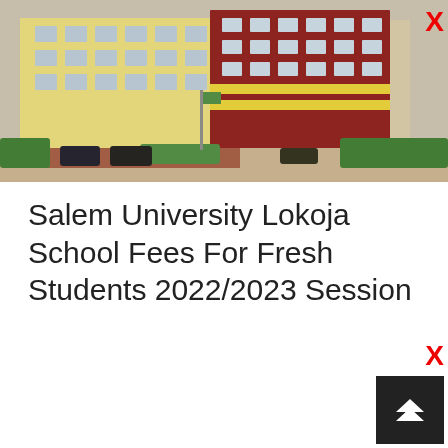[Figure (photo): Exterior photo of Salem University Lokoja campus buildings — multi-storey structures in red and yellow/cream colours with parked cars and green hedges in the foreground.]
Salem University Lokoja School Fees For Fresh Students 2022/2023 Session